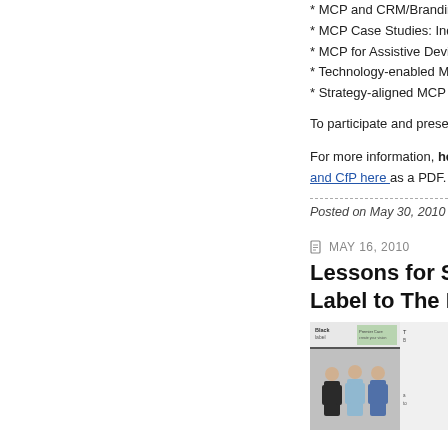* MCP and CRM/Branding
* MCP Case Studies: Indu
* MCP for Assistive Device
* Technology-enabled MC
* Strategy-aligned MCP
To participate and present, s
For more information, head ... and CfP here as a PDF.
Posted on May 30, 2010 in Even
MAY 16, 2010
Lessons for Star Label to The New
[Figure (photo): Screenshot of a website showing Black Label brand with three men standing, alongside some text content]